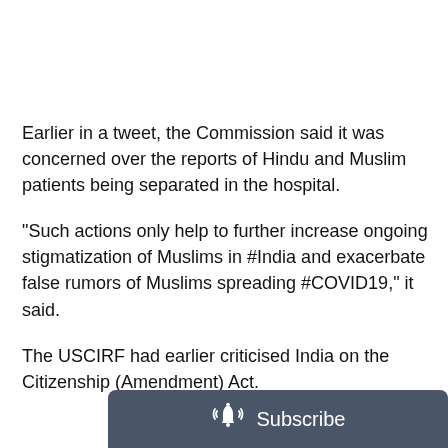Earlier in a tweet, the Commission said it was concerned over the reports of Hindu and Muslim patients being separated in the hospital.
“Such actions only help to further increase ongoing stigmatization of Muslims in #India and exacerbate false rumors of Muslims spreading #COVID19,” it said.
The USCIRF had earlier criticised India on the Citizenship (Amendment) Act.
[Figure (other): Subscribe button bar with bell icon and text 'Subscribe' on a dark grey background]